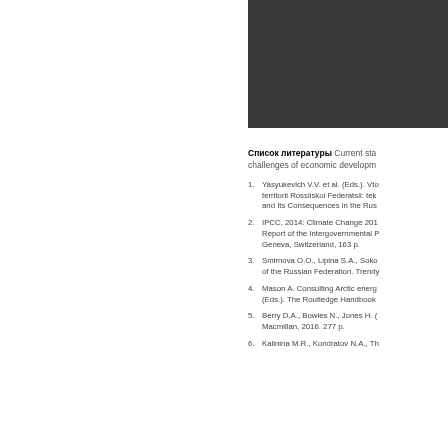[Figure (other): Dark grey/black rectangular block at top right of page]
Список литературы Current sta... challenges of economic developm...
1. Yasyukevich V.V. et al. (Eds.). Vto... territorii Rossiiskoi Federatsii: tek... and Its Consequences in the Rus...
2. IPCC, 2014: Climate Change 201... Report of the Intergovernmental P... Geneva, Switzerland, 163 p.
3. Smirnova O.O., Lipina S.A., Soko... of the Russian Federation. Trendy...
4. Mason A. Consulting Arctic energ... (Eds.). The Routledge Handbook...
5. Berry D.A., Bowles N., Jones H. (... Macmillan, 2016. 277 p.
6. Kalinina M.R., Kondratov N.A., Th...